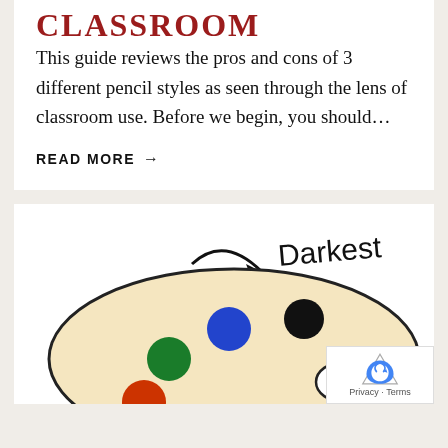CLASSROOM
This guide reviews the pros and cons of 3 different pencil styles as seen through the lens of classroom use. Before we begin, you should...
READ MORE →
[Figure (illustration): An illustrated artist's color palette with colored dots (blue, black, green, orange) and a curved arrow pointing to the label 'Darkest' written in handwriting above the palette.]